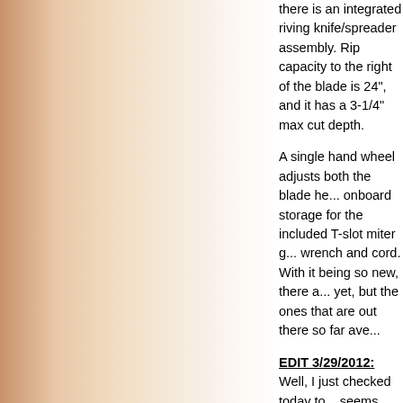there is an integrated riving knife/spreader assembly. Rip capacity to the right of the blade is 24", and it has a 3-1/4" max cut depth.
A single hand wheel adjusts both the blade he... onboard storage for the included T-slot miter g... wrench and cord. With it being so new, there a... yet, but the ones that are out there so far ave...
EDIT 3/29/2012: Well, I just checked today to... seems that the R45161 doesn't come up in a... website. When I do a Google search for it, I fi... error message when I try to check the price a...
The main competitors to the R45161 are the ... Dewalt DW745. Both of them are more exper... capacity, but also get great reviews.
All three Ridgid table saw models are a great... the same quality, features and capability of th... classes, but at a significantly lower price poin... Service Agreement (for the original owner) is... all, I don't think you could go wrong with any c...
You can get detailed specs on Ridgid table sa...